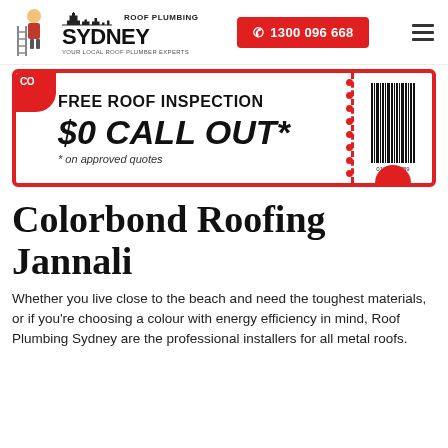[Figure (logo): Roof Plumbing Sydney logo with cartoon plumber mascot and Sydney Opera House silhouette]
[Figure (infographic): Coupon offering Free Roof Inspection and $0 Call Out on approved quotes, with barcode on the right side]
Colorbond Roofing Jannali
Whether you live close to the beach and need the toughest materials, or if you're choosing a colour with energy efficiency in mind, Roof Plumbing Sydney are the professional installers for all metal roofs.